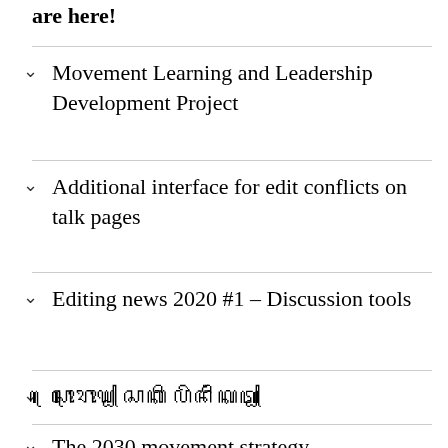are here!
Movement Learning and Leadership Development Project
Additional interface for edit conflicts on talk pages
Editing news 2020 #1 – Discussion tools
ꦱꦺꦴꦫꦺꦴꦒ꧀ ꦱꦏꦶ ꦥꦼꦤꦶꦁꦏꦠ꧀
The 2030 movement strategy